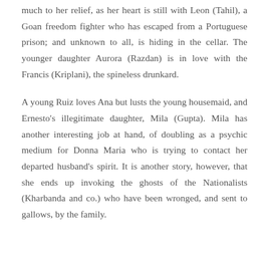much to her relief, as her heart is still with Leon (Tahil), a Goan freedom fighter who has escaped from a Portuguese prison; and unknown to all, is hiding in the cellar. The younger daughter Aurora (Razdan) is in love with the Francis (Kriplani), the spineless drunkard.
A young Ruiz loves Ana but lusts the young housemaid, and Ernesto's illegitimate daughter, Mila (Gupta). Mila has another interesting job at hand, of doubling as a psychic medium for Donna Maria who is trying to contact her departed husband's spirit. It is another story, however, that she ends up invoking the ghosts of the Nationalists (Kharbanda and co.) who have been wronged, and sent to gallows, by the family.